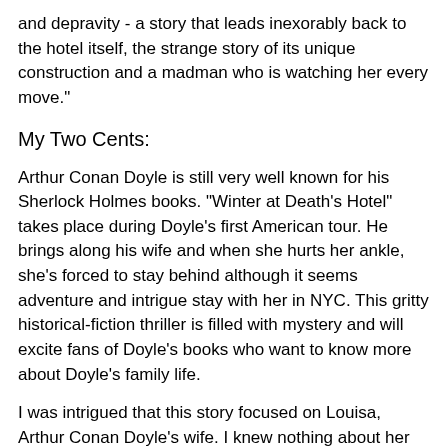and depravity - a story that leads inexorably back to the hotel itself, the strange story of its unique construction and a madman who is watching her every move."
My Two Cents:
Arthur Conan Doyle is still very well known for his Sherlock Holmes books. "Winter at Death's Hotel" takes place during Doyle's first American tour. He brings along his wife and when she hurts her ankle, she's forced to stay behind although it seems adventure and intrigue stay with her in NYC. This gritty historical-fiction thriller is filled with mystery and will excite fans of Doyle's books who want to know more about Doyle's family life.
I was intrigued that this story focused on Louisa, Arthur Conan Doyle's wife. I knew nothing about her before I read this book. I really enjoyed reading about her. For a woman of her time, she's quite adventurous. She starts off almost a little spoiled in the book but as the book goes on, she really comes into her own as the book goes on.